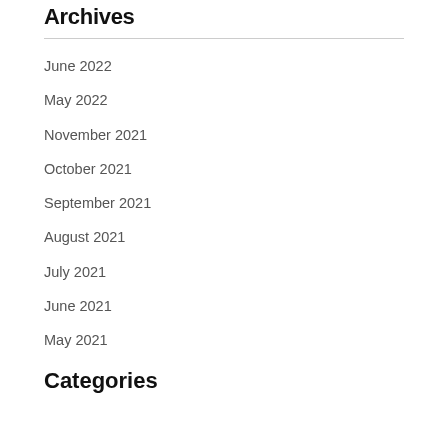Archives
June 2022
May 2022
November 2021
October 2021
September 2021
August 2021
July 2021
June 2021
May 2021
Categories